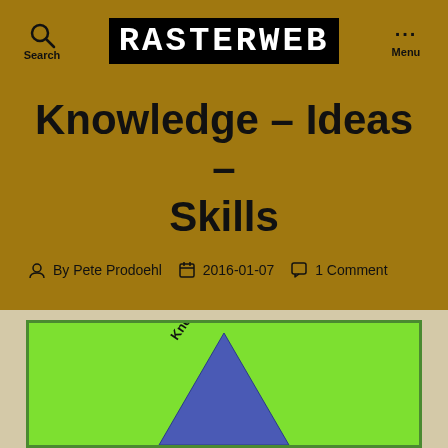RASTERWEB — Search | Menu
Knowledge – Ideas – Skills
By Pete Prodoehl  2016-01-07  1 Comment
[Figure (illustration): Green background with a blue triangle labeled 'Knowledge' partially visible, inside a green-bordered box]